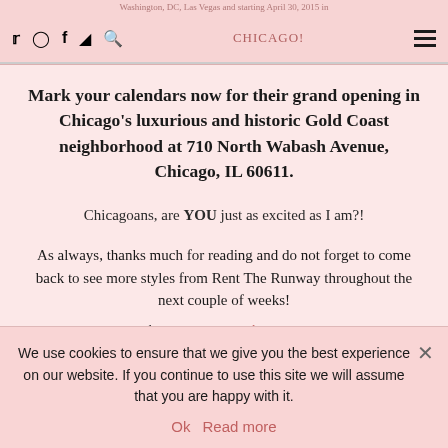Washington, DC, Las Vegas and starting April 30, 2015 in CHICAGO!
Mark your calendars now for their grand opening in Chicago's luxurious and historic Gold Coast neighborhood at 710 North Wabash Avenue, Chicago, IL 60611.
Chicagoans, are YOU just as excited as I am?!
As always, thanks much for reading and do not forget to come back to see more styles from Rent The Runway throughout the next couple of weeks!
PS. Have you ever used Rent The...
We use cookies to ensure that we give you the best experience on our website. If you continue to use this site we will assume that you are happy with it. Ok Read more